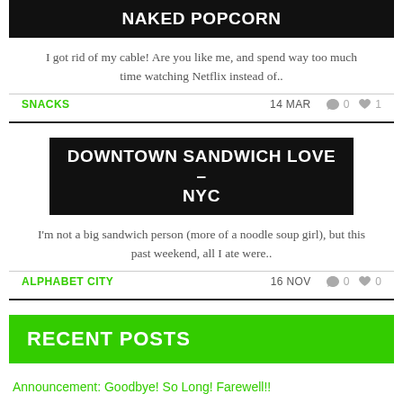NAKED POPCORN
I got rid of my cable! Are you like me, and spend way too much time watching Netflix instead of..
SNACKS   14 MAR   0   1
DOWNTOWN SANDWICH LOVE – NYC
I'm not a big sandwich person (more of a noodle soup girl), but this past weekend, all I ate were..
ALPHABET CITY   16 NOV   0   0
RECENT POSTS
Announcement: Goodbye! So Long! Farewell!!